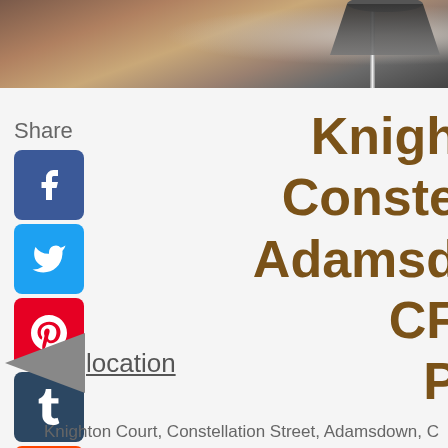[Figure (photo): Partial interior photo showing furniture, chrome lamp stand and shade against a warm background]
Share
[Figure (infographic): Social media sharing icons: Facebook, Twitter, Pinterest, Tumblr, Reddit, WhatsApp]
Knighton Court, Constellation Street, Adamsdown, CF...
Location
Knighton Court, Constellation Street, Adamsdown, C